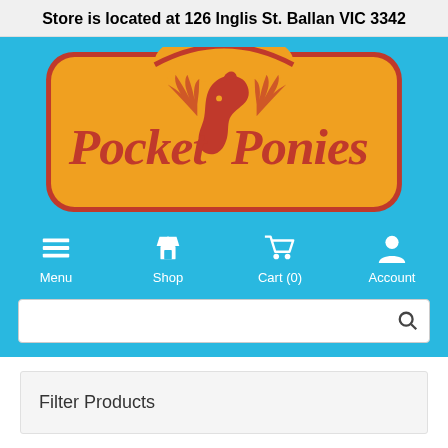Store is located at 126 Inglis St. Ballan VIC 3342
[Figure (logo): Pocket Ponies logo: orange/gold rounded rectangle sign with dark red text reading 'Pocket Ponies' and a horse head silhouette in the center, on a sky blue background]
Menu  Shop  Cart (0)  Account
Filter Products
Home / HORSE / ACCESSORIES / Bridle Bag